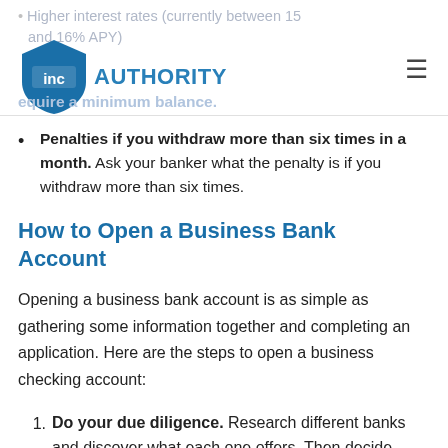Higher interest rates (currently between 15 and 16% APY)
[Figure (logo): Inc Authority shield logo with blue badge and text 'inc AUTHORITY']
require a minimum balance.
Penalties if you withdraw more than six times in a month. Ask your banker what the penalty is if you withdraw more than six times.
How to Open a Business Bank Account
Opening a business bank account is as simple as gathering some information together and completing an application. Here are the steps to open a business checking account:
Do your due diligence. Research different banks and discover what each one offers. Then decide which one will work best for your